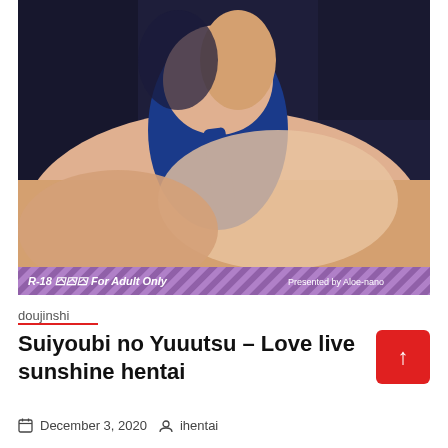[Figure (illustration): Anime illustration of a character in a blue swimsuit, with a purple striped banner at the bottom reading 'R-18 >>> For Adult Only' on the left and 'Presented by Aloe-nano' on the right.]
doujinshi
Suiyoubi no Yuuutsu – Love live sunshine hentai
December 3, 2020   ihentai